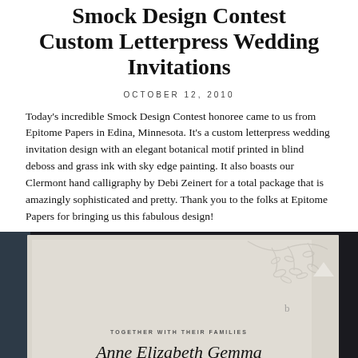Smock Design Contest Custom Letterpress Wedding Invitations
OCTOBER 12, 2010
Today's incredible Smock Design Contest honoree came to us from Epitome Papers in Edina, Minnesota. It's a custom letterpress wedding invitation design with an elegant botanical motif printed in blind deboss and grass ink with sky edge painting. It also boasts our Clermont hand calligraphy by Debi Zeinert for a total package that is amazingly sophisticated and pretty. Thank you to the folks at Epitome Papers for bringing us this fabulous design!
[Figure (photo): A letterpress wedding invitation card propped up in a dark setting, showing a botanical blind deboss motif at the top and hand calligraphy text reading 'Together with their families Anne Elizabeth Gemma' in Clermont style calligraphy.]